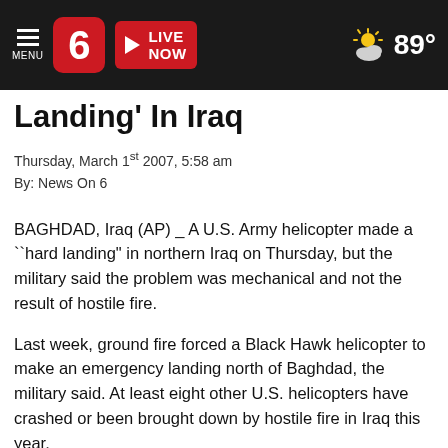News On 6 — LIVE NOW — 89°
Landing' In Iraq
Thursday, March 1st 2007, 5:58 am
By: News On 6
BAGHDAD, Iraq (AP) _ A U.S. Army helicopter made a ``hard landing" in northern Iraq on Thursday, but the military said the problem was mechanical and not the result of hostile fire.
Last week, ground fire forced a Black Hawk helicopter to make an emergency landing north of Baghdad, the military said. At least eight other U.S. helicopters have crashed or been brought down by hostile fire in Iraq this year.
On Thursday, two pilots were injured and evacuated to an